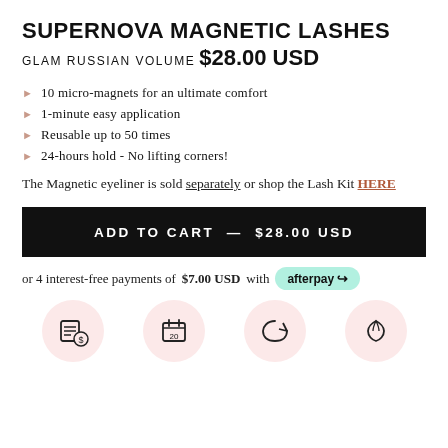SUPERNOVA MAGNETIC LASHES
GLAM RUSSIAN VOLUME
$28.00 USD
10 micro-magnets for an ultimate comfort
1-minute easy application
Reusable up to 50 times
24-hours hold - No lifting corners!
The Magnetic eyeliner is sold separately or shop the Lash Kit HERE
ADD TO CART — $28.00 USD
or 4 interest-free payments of $7.00 USD with afterpay
[Figure (illustration): Four circular pink icons at the bottom showing product features]